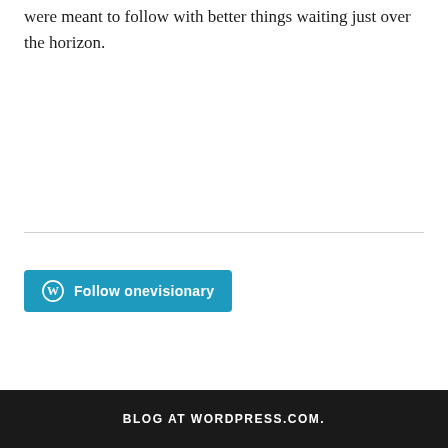were meant to follow with better things waiting just over the horizon.
[Figure (other): Follow onevisionary WordPress follow button]
BLOG AT WORDPRESS.COM.